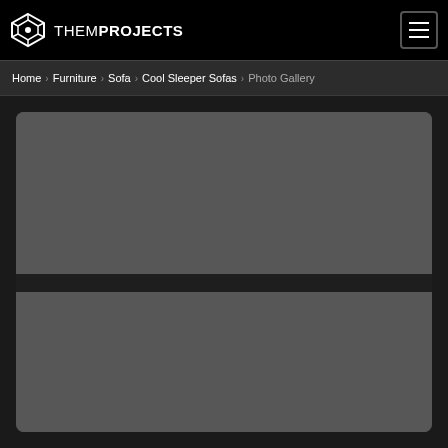THEMPROJECTS
Home › Furniture › Sofa › Cool Sleeper Sofas › Photo Gallery
[Figure (photo): Photo gallery image placeholder — dark gray rounded rectangle card with a thin dark horizontal bar across the middle, representing a loading or placeholder image for a sleeper sofa photo gallery page on ThemProjects website]